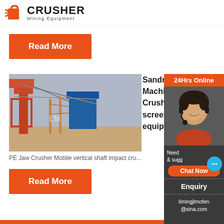[Figure (logo): Crusher Mining Equipment logo with red shopping bag icon with speed lines and bold CRUSHER text with Mining Equipment subtitle]
Read More
[Figure (photo): Industrial mining crusher equipment on a construction site with blue machinery and red structural frames against a cloudy sky]
Sandm... Machin... Crushi... screen... equipm...
PE Jaw Crusher Mobile vertical shaft impact cru...
Read More
[Figure (infographic): 24Hrs Online sidebar with customer service representative wearing headset, Chat Now button, Enquiry section, and limingjlmofen@sina.com email]
limingjlmofen@sina.com